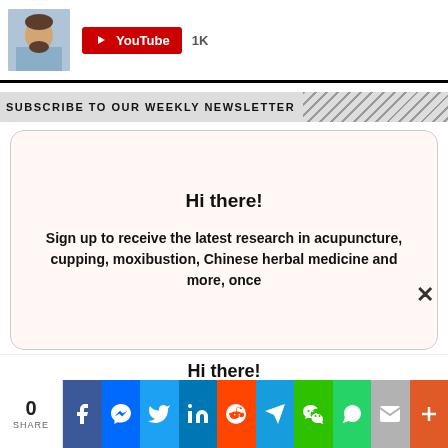[Figure (screenshot): Top header bar with author avatar photo, YouTube subscribe button showing 1K subscribers]
SUBSCRIBE TO OUR WEEKLY NEWSLETTER
Hi there!

Sign up to receive the latest research in acupuncture, cupping, moxibustion, Chinese herbal medicine and more, once
Hi there!

Sign up to receive the latest research in acupuncture, cupping, moxibustion, Chinese herbal medicine and more, once
[Figure (screenshot): Social share bar with count 0 SHARE and icons: Facebook, Messenger, Twitter, LinkedIn, Reddit, Telegram, WeChat, WhatsApp, Email, More]